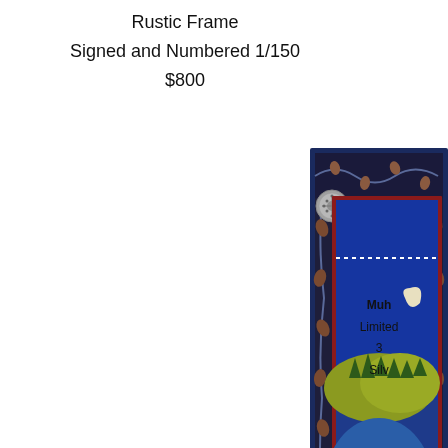Rustic Frame
Signed and Numbered 1/150
$800
[Figure (photo): Framed artwork showing a night scene with a moose/animal in a pond, trees on a hill, moon and dotted sky, with decorative dark blue floral border and silver concho accents at corners. Text 'MUHQ' visible at bottom of artwork.]
Muh
Limited
3
Silv